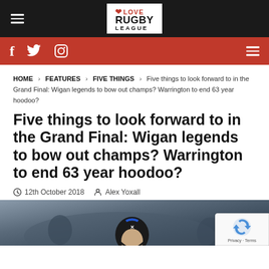Love Rugby League - navigation header with logo
Social bar with Facebook, Twitter, Instagram icons
HOME > FEATURES > FIVE THINGS > Five things to look forward to in the Grand Final: Wigan legends to bow out champs? Warrington to end 63 year hoodoo?
Five things to look forward to in the Grand Final: Wigan legends to bow out champs? Warrington to end 63 year hoodoo?
12th October 2018   Alex Yoxall
[Figure (photo): Rugby league player wearing a black scrum cap with blue stripe and white logo, blue background]